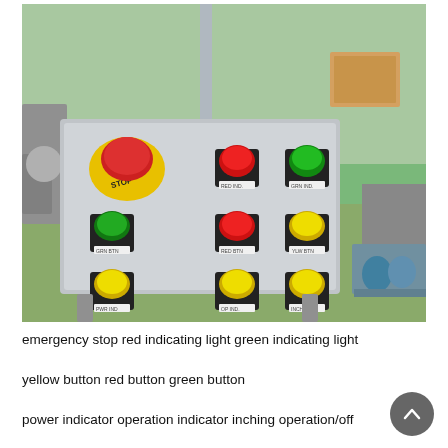[Figure (photo): Industrial control panel with multiple push buttons: one large red emergency stop button on yellow base labeled STOP, a red indicating light, a green indicating light, a green button, a red button, a yellow button, a yellow button (power indicator), a yellow button (operation indicator), and a yellow button (inching operation/off). Control panel is metallic/stainless steel, set in a factory environment.]
emergency stop red indicating light green indicating light
yellow button red button green button
power indicator operation indicator inching operation/off